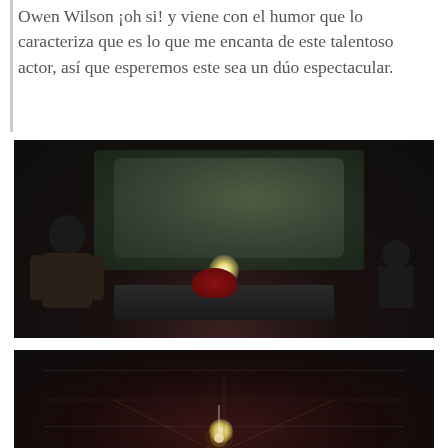Owen Wilson ¡oh si! y viene con el humor que lo caracteriza que es lo que me encanta de este talentoso actor, así que esperemos este sea un dúo espectacular.
[Figure (photo): Dark cinematic scene showing a man presenting a holographic projection of superhero figures (resembling Avengers) to two silhouetted figures seated at a table. A bright light source is on the table.]
[Figure (photo): Dark cinematic scene showing a dimly lit room with a glowing light source at the bottom center, with red-tinted atmospheric lighting.]